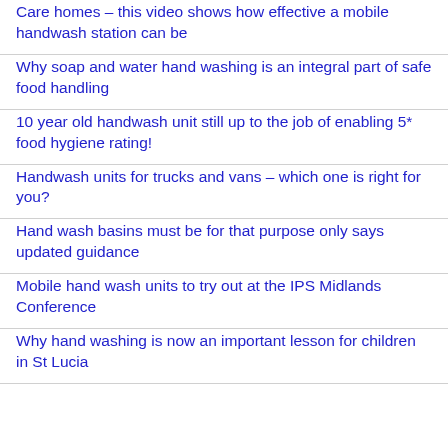Care homes – this video shows how effective a mobile handwash station can be
Why soap and water hand washing is an integral part of safe food handling
10 year old handwash unit still up to the job of enabling 5* food hygiene rating!
Handwash units for trucks and vans – which one is right for you?
Hand wash basins must be for that purpose only says updated guidance
Mobile hand wash units to try out at the IPS Midlands Conference
Why hand washing is now an important lesson for children in St Lucia